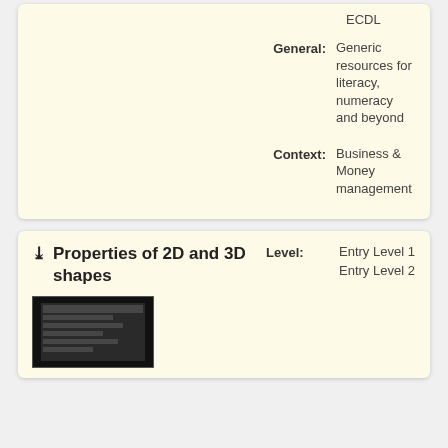ECDL
General: Generic resources for literacy, numeracy and beyond
Context: Business & Money management
Properties of 2D and 3D shapes
Level: Entry Level 1 Entry Level 2